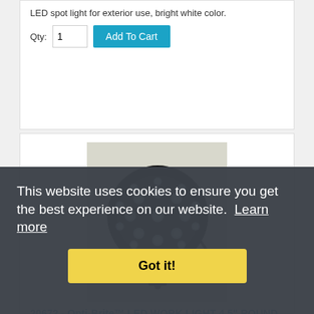LED spot light for exterior use, bright white color.
Qty: 1  Add To Cart
[Figure (photo): Round LED work light with multiple LED bulbs in circular housing with mounting bracket and cable]
20672 - Opti-Brite™ LED WORK LIGHT 4.5" ROUND
SKU 20672
$65.95
4.5" Round LED work light, flood beam, 12-24V
This website uses cookies to ensure you get the best experience on our website.  Learn more
Got it!